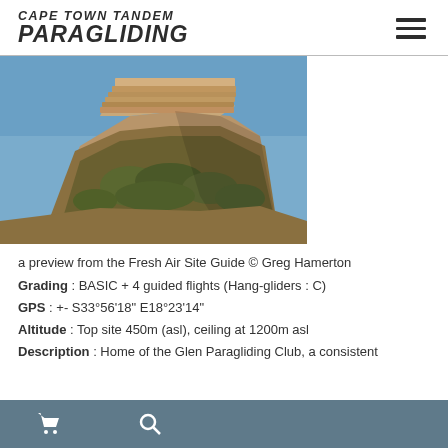CAPE TOWN TANDEM PARAGLIDING
[Figure (photo): Photograph of a flat-topped rocky mountain (Lion's Head / Signal Hill area, Cape Town) with blue sky background, taken at golden hour. The mountain has layered sandstone cliffs at the top and scrubby vegetation on the lower slopes.]
a preview from the Fresh Air Site Guide © Greg Hamerton
Grading : BASIC + 4 guided flights (Hang-gliders : C)
GPS : +- S33°56'18" E18°23'14"
Altitude : Top site 450m (asl), ceiling at 1200m asl
Description : Home of the Glen Paragliding Club, a consistent